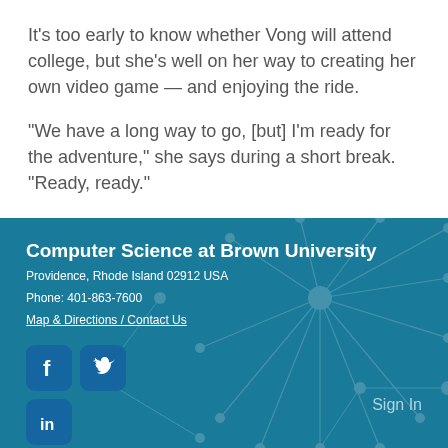It’s too early to know whether Vong will attend college, but she’s well on her way to creating her own video game — and enjoying the ride.
“We have a long way to go, [but] I’m ready for the adventure,” she says during a short break. “Ready, ready.”
Computer Science at Brown University
Providence, Rhode Island 02912 USA
Phone: 401-863-7600
Map & Directions / Contact Us
Sign In